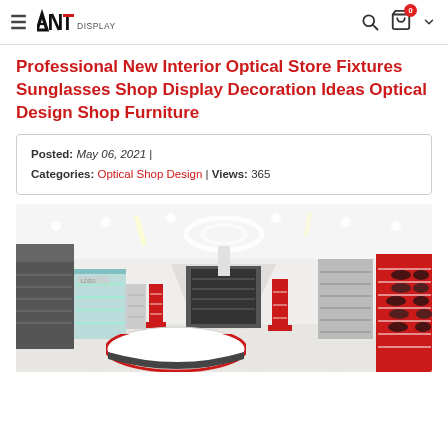ANT DISPLAY — navigation header with hamburger menu, logo, search icon, cart icon
Professional New Interior Optical Store Fixtures Sunglasses Shop Display Decoration Ideas Optical Design Shop Furniture
Posted: May 06, 2021 | Categories: Optical Shop Design | Views: 365
[Figure (photo): Interior rendering of a modern optical/sunglasses retail shop with white floors, recessed ceiling lights, circular ceiling feature, red and white display stands, wall-mounted eyeglass displays, and a curved reception counter.]